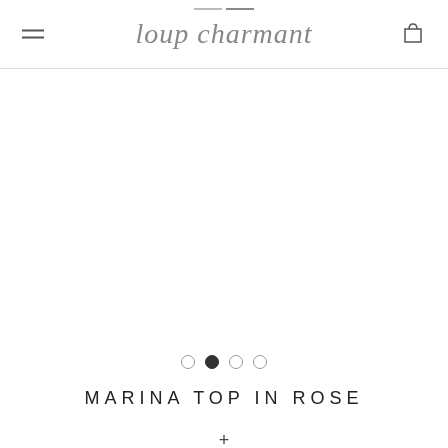loup charmant
[Figure (other): Blank white product image area with carousel dot navigation showing 4 dots, second dot active]
MARINA TOP IN ROSE